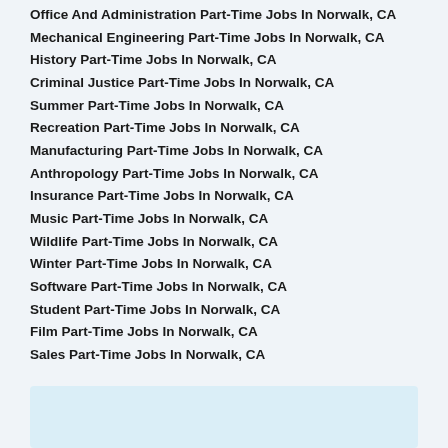Office And Administration Part-Time Jobs In Norwalk, CA
Mechanical Engineering Part-Time Jobs In Norwalk, CA
History Part-Time Jobs In Norwalk, CA
Criminal Justice Part-Time Jobs In Norwalk, CA
Summer Part-Time Jobs In Norwalk, CA
Recreation Part-Time Jobs In Norwalk, CA
Manufacturing Part-Time Jobs In Norwalk, CA
Anthropology Part-Time Jobs In Norwalk, CA
Insurance Part-Time Jobs In Norwalk, CA
Music Part-Time Jobs In Norwalk, CA
Wildlife Part-Time Jobs In Norwalk, CA
Winter Part-Time Jobs In Norwalk, CA
Software Part-Time Jobs In Norwalk, CA
Student Part-Time Jobs In Norwalk, CA
Film Part-Time Jobs In Norwalk, CA
Sales Part-Time Jobs In Norwalk, CA